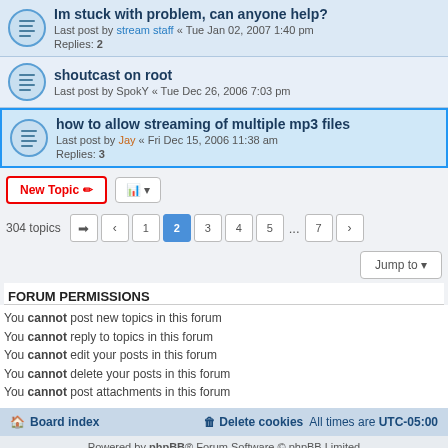Im stuck with problem, can anyone help? Last post by stream staff « Tue Jan 02, 2007 1:40 pm Replies: 2
shoutcast on root Last post by SpokY « Tue Dec 26, 2006 7:03 pm
how to allow streaming of multiple mp3 files Last post by Jay « Fri Dec 15, 2006 11:38 am Replies: 3
New Topic | Sort | 304 topics | Page 1 2 3 4 5 ... 7 | Jump to
FORUM PERMISSIONS
You cannot post new topics in this forum
You cannot reply to topics in this forum
You cannot edit your posts in this forum
You cannot delete your posts in this forum
You cannot post attachments in this forum
Board index | Delete cookies | All times are UTC-05:00 | Powered by phpBB® Forum Software © phpBB Limited